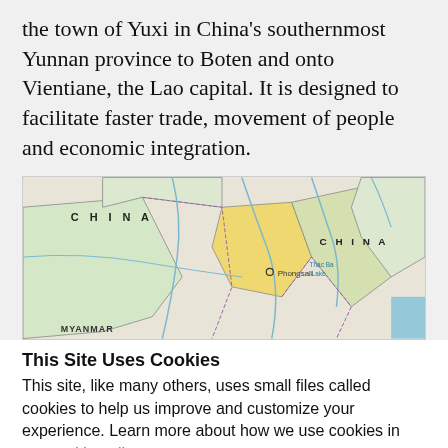the town of Yuxi in China's southernmost Yunnan province to Boten and onto Vientiane, the Lao capital. It is designed to facilitate faster trade, movement of people and economic integration.
[Figure (map): Map showing parts of China, Myanmar, Vietnam and Laos. Labels include CHINA (left and right), MYANMAR (bottom left), VIETNAM (center-right). Points include Phongsali and Thac Ba Lake.]
This Site Uses Cookies
This site, like many others, uses small files called cookies to help us improve and customize your experience. Learn more about how we use cookies in our cookie policy.
Learn more about cookies   OK